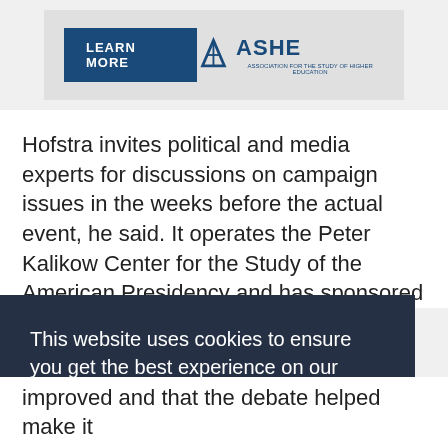[Figure (logo): Ad banner with LEARN MORE button and ASHE (Association for the Study of Higher Education) logo on grey background]
Hofstra invites political and media experts for discussions on campaign issues in the weeks before the actual event, he said. It operates the Peter Kalikow Center for the Study of the American Presidency and has sponsored
This website uses cookies to ensure you get the best experience on our website.
Learn more
Got it!
improved and that the debate helped make it